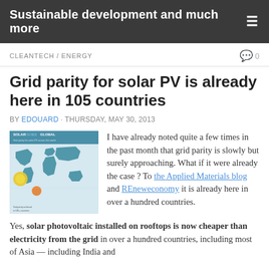Sustainable development and much more
CLEANTECH / ENERGY
Grid parity for solar PV is already here in 105 countries
BY EDOUARD · THURSDAY, MAY 30, 2013
[Figure (map): Solar Goes Global world map infographic showing solar PV grid parity countries highlighted in teal/blue]
I have already noted quite a few times in the past month that grid parity is slowly but surely approaching. What if it were already the case ? To the Applied Materials blog and REneweconomy it is already here in over a hundred countries.
Yes, solar photovoltaic installed on rooftops is now cheaper than electricity from the grid in over a hundred countries, including most of Asia — including India and